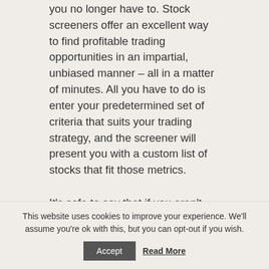you no longer have to. Stock screeners offer an excellent way to find profitable trading opportunities in an impartial, unbiased manner – all in a matter of minutes. All you have to do is enter your predetermined set of criteria that suits your trading strategy, and the screener will present you with a custom list of stocks that fit those metrics.
It's safe to say that if you aren't using a stock screening tool to aid
This website uses cookies to improve your experience. We'll assume you're ok with this, but you can opt-out if you wish.